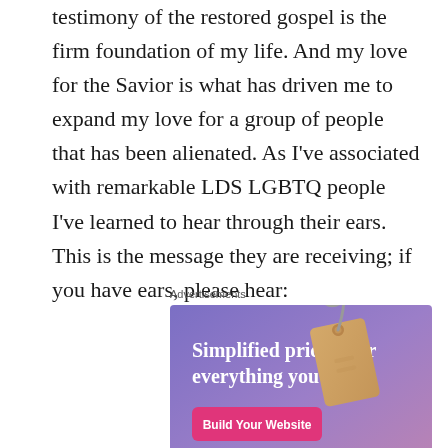testimony of the restored gospel is the firm foundation of my life. And my love for the Savior is what has driven me to expand my love for a group of people that has been alienated. As I've associated with remarkable LDS LGBTQ people I've learned to hear through their ears. This is the message they are receiving; if you have ears, please hear:
Advertisements
[Figure (illustration): Advertisement banner with purple-blue gradient background. Text reads 'Simplified pricing for everything you need.' with a pink 'Build Your Website' button and a tan/beige price tag graphic.]